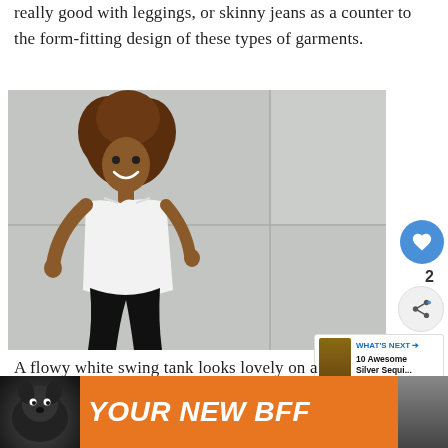really good with leggings, or skinny jeans as a counter to the form-fitting design of these types of garments.
[Figure (photo): A smiling woman with curly hair wearing a white flowy swing tank top and black leggings, standing against a concrete wall. A heart/like button showing 2 likes and a share button are overlaid on the right side.]
A flowy white swing tank looks lovely on a hot summer day. Dress it up it nice jewelry,
[Figure (infographic): What's Next panel showing '10 Awesome Silver Sequi...' with a small thumbnail image]
[Figure (photo): Advertisement banner: orange background with a dog and text 'YOUR NEW BFF']